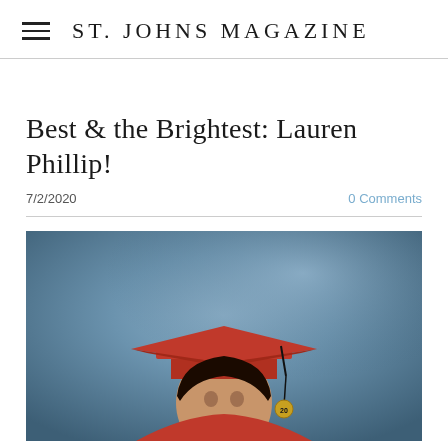ST. JOHNS MAGAZINE
Best & the Brightest: Lauren Phillip!
7/2/2020
0 Comments
[Figure (photo): Young woman in red graduation cap and gown with gold '20' tassel against a blue background]